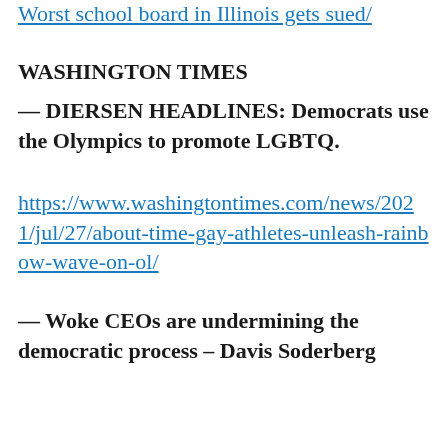Worst school board in Illinois gets sued/
WASHINGTON TIMES
— DIERSEN HEADLINES: Democrats use the Olympics to promote LGBTQ.
https://www.washingtontimes.com/news/2021/jul/27/about-time-gay-athletes-unleash-rainbow-wave-on-ol/
— Woke CEOs are undermining the democratic process – Davis Soderberg
https://www.washingtontimes.com/news/2021/jul/27/woke-ceos-are-undermining-the-democratic-process/
— 'Racism, even in geography, cannot be tolerated': Dems crusade to rename places, mountains, rivers – Kery Murakami
https://www.washingtontimes.com/news/202